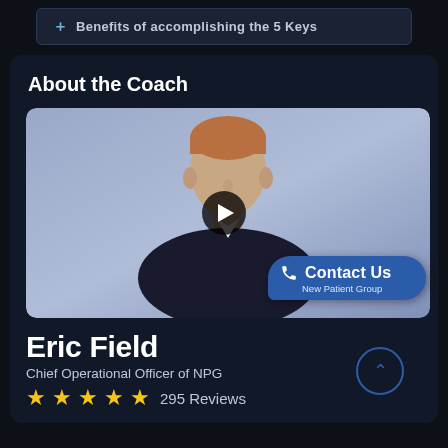+ Benefits of accomplishing the 5 Keys
About the Coach
[Figure (photo): Photo of Eric Field, a man in a dark suit smiling, with a play button overlay and a 'Contact Us - New Patient Group' badge in the bottom right corner. Background is a muted blue-gray.]
Eric Field
Chief Operational Officer of NPG
⭐⭐⭐⭐⭐ 295 Reviews